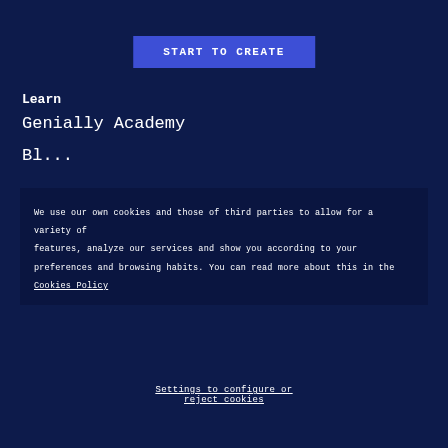START TO CREATE
Learn
Genially Academy
Bl...
We use our own cookies and those of third parties to allow for a variety of features, analyze our services and show you according to your preferences and browsing habits. You can read more about this in the Cookies Policy
Accept All Cookies
Settings to configure or reject cookies